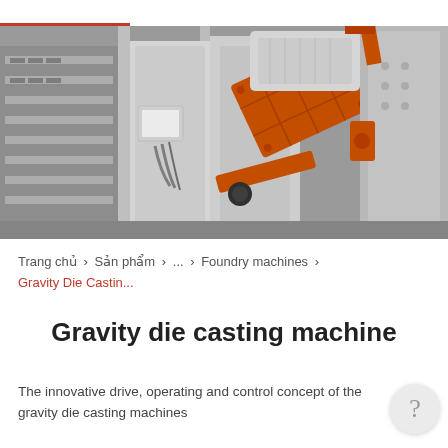[Figure (photo): Industrial gravity die casting machine photographed in a factory setting. The machine features prominently orange/red colored mechanical components including a tilting die assembly, with white structural framing and various molds and equipment visible in the background. The image is partially desaturated with the orange machinery parts highlighted.]
Trang chủ > Sản phẩm > ... > Foundry machines > Gravity Die Castin...
Gravity die casting machine
The innovative drive, operating and control concept of the gravity die casting machines